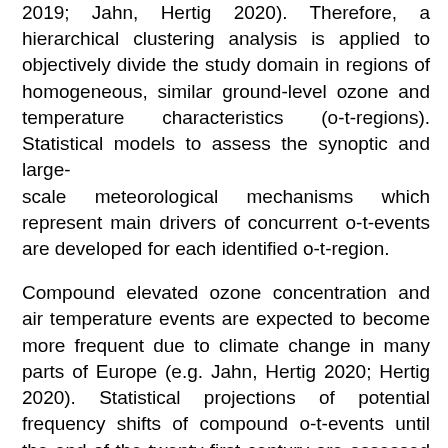2019; Jahn, Hertig 2020). Therefore, a hierarchical clustering analysis is applied to objectively divide the study domain in regions of homogeneous, similar ground-level ozone and temperature characteristics (o-t-regions). Statistical models to assess the synoptic and large-scale meteorological mechanisms which represent main drivers of concurrent o-t-events are developed for each identified o-t-region.
Compound elevated ozone concentration and air temperature events are expected to become more frequent due to climate change in many parts of Europe (e.g. Jahn, Hertig 2020; Hertig 2020). Statistical projections of potential frequency shifts of compound o-t-events until the end of the twenty-first century are assessed using the output of Earth System Models (ESMs) from the sixth phase of the Coupled Model Intercomparison Project (CMIP6).